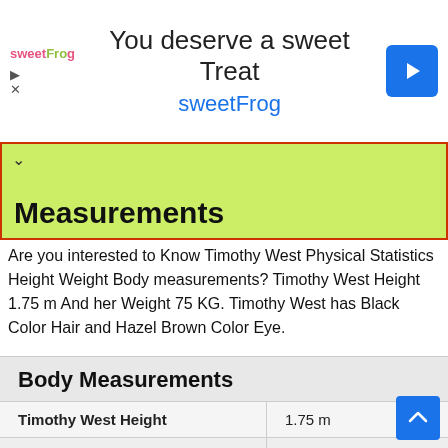[Figure (screenshot): SweetFrog advertisement banner with logo, text 'You deserve a sweet Treat sweetFrog', and a blue direction sign icon]
Measurements
Are you interested to Know Timothy West Physical Statistics Height Weight Body measurements? Timothy West Height 1.75 m And her Weight 75 KG. Timothy West has Black Color Hair and Hazel Brown Color Eye.
|  |  |
| --- | --- |
| Body Measurements |  |
| Timothy West Height | 1.75 m |
| Weight | 75 KG |
| Eye Colour | Brown |
| Hair Colour | Black |